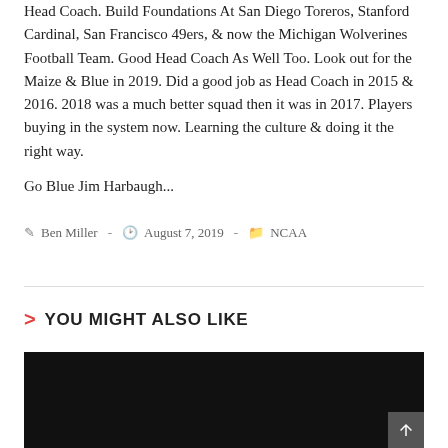Head Coach. Build Foundations At San Diego Toreros, Stanford Cardinal, San Francisco 49ers, & now the Michigan Wolverines Football Team. Good Head Coach As Well Too. Look out for the Maize & Blue in 2019. Did a good job as Head Coach in 2015 & 2016. 2018 was a much better squad then it was in 2017. Players buying in the system now. Learning the culture & doing it the right way.
Go Blue Jim Harbaugh...
Ben Miller - August 7, 2019 - NCAA
YOU MIGHT ALSO LIKE
[Figure (photo): Dark/black image thumbnail at the bottom of the page]